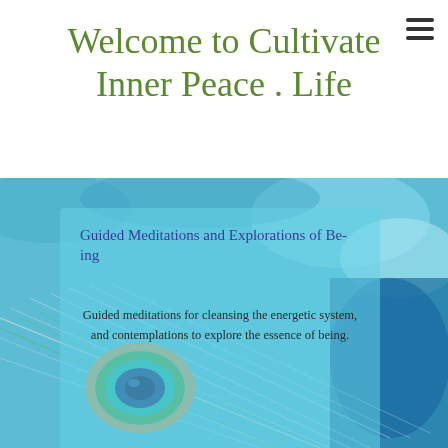Welcome to Cultivate Inner Peace . Life
[Figure (illustration): Background image showing a peacock feather with blue watercolor texture, teal and blue tones, with a translucent overlay box containing meditation text]
Guided Meditations and Explorations of Be-ing
Guided meditations for cleansing the energetic system, and contemplations to explore the essence of being.